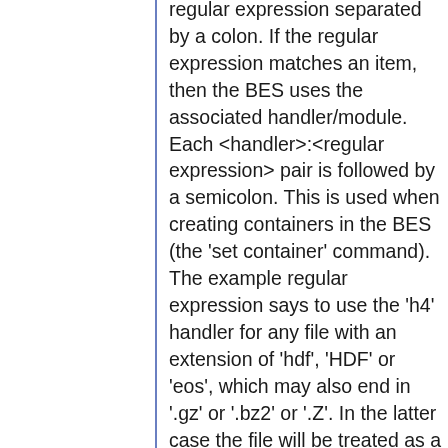regular expression separated by a colon. If the regular expression matches an item, then the BES uses the associated handler/module. Each <handler>:<regular expression> pair is followed by a semicolon. This is used when creating containers in the BES (the 'set container' command). The example regular expression says to use the 'h4' handler for any file with an extension of 'hdf', 'HDF' or 'eos', which may also end in '.gz' or '.bz2' or '.Z'. In the latter case the file will be treated as a compressed file.
Example:

BES.Catalog.catalog.TypeMatch=
(h4|HDFheo)